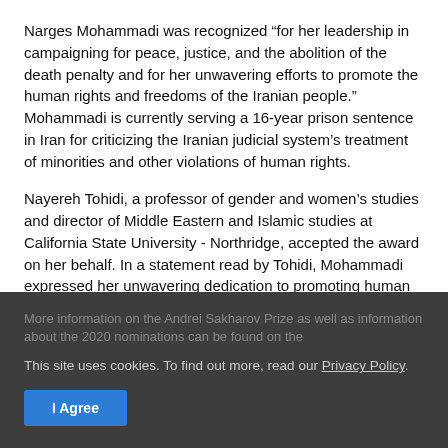Narges Mohammadi was recognized “for her leadership in campaigning for peace, justice, and the abolition of the death penalty and for her unwavering efforts to promote the human rights and freedoms of the Iranian people.” Mohammadi is currently serving a 16-year prison sentence in Iran for criticizing the Iranian judicial system’s treatment of minorities and other violations of human rights.
Nayereh Tohidi, a professor of gender and women’s studies and director of Middle Eastern and Islamic studies at California State University - Northridge, accepted the award on her behalf. In a statement read by Tohidi, Mohammadi expressed her unwavering dedication to promoting human rights in Iran and acknowledged the strength this recognition gives her in her continued struggle.
More information on the Andrei Sakharov Prize as well as information about the 2020 nominations can be found on the
This site uses cookies. To find out more, read our Privacy Policy.
I Agree